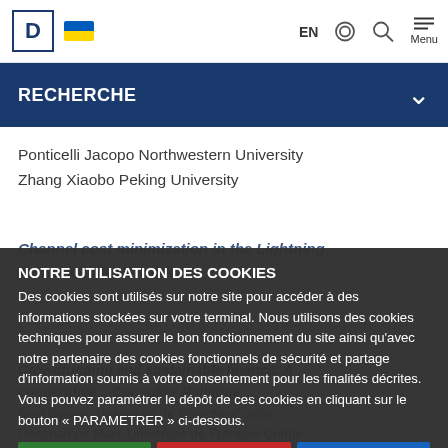D [logo] [Ukraine flag] EN [accessibility icon] [search icon] Menu
RECHERCHE
Ponticelli Jacopo Northwestern University
Zhang Xiaobo Peking University
NOTRE UTILISATION DES COOKIES
Des cookies sont utilisés sur notre site pour accéder à des informations stockées sur votre terminal. Nous utilisons des cookies techniques pour assurer le bon fonctionnement du site ainsi qu'avec notre partenaire des cookies fonctionnels de sécurité et partage d'information soumis à votre consentement pour les finalités décrites. Vous pouvez paramétrer le dépôt de ces cookies en cliquant sur le bouton « PARAMETRER » ci-dessous.
✓ Tout accepter | ✗ Tout refuser | Paramétrer
Politique de confidentialité
Crowdfunding and sustainable finance: A cooperative... Consulter Politique
Beal Sylvain Université de Franche-Comté
Deschamps Marc Université de Franche-Comté